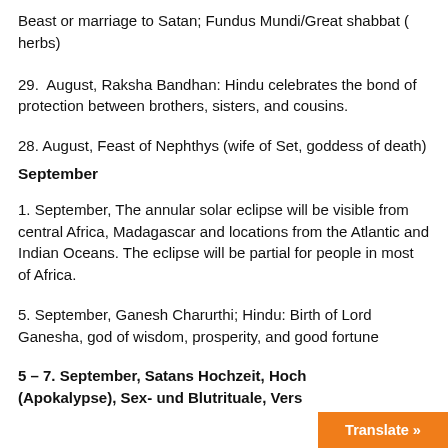Beast or marriage to Satan; Fundus Mundi/Great shabbat (herbs)
29.  August, Raksha Bandhan: Hindu celebrates the bond of protection between brothers, sisters, and cousins.
28. August, Feast of Nephthys (wife of Set, goddess of death)
September
1. September, The annular solar eclipse will be visible from central Africa, Madagascar and locations from the Atlantic and Indian Oceans. The eclipse will be partial for people in most of Africa.
5. September, Ganesh Charurthi; Hindu: Birth of Lord Ganesha, god of wisdom, prosperity, and good fortune
5 – 7. September, Satans Hochzeit, Hoch (Apokalypse), Sex- und Blutrituale, Vers